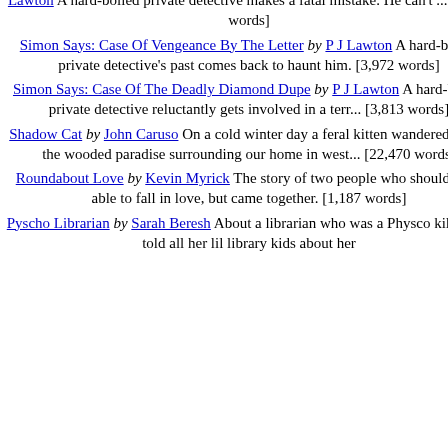Lawton A hard-boiled private detective makes a fatal mistake. He can't ... [3,757 words]
Simon Says: Case Of Vengeance By The Letter by P J Lawton A hard-boiled private detective's past comes back to haunt him. [3,972 words]
Simon Says: Case Of The Deadly Diamond Dupe by P J Lawton A hard-boiled private detective reluctantly gets involved in a terr... [3,813 words]
Shadow Cat by John Caruso On a cold winter day a feral kitten wandered out of the wooded paradise surrounding our home in west... [22,470 words]
Roundabout Love by Kevin Myrick The story of two people who shouldn't be able to fall in love, but came together. [1,187 words]
Pyscho Librarian by Sarah Beresh About a librarian who was a Physco killer and told all her lil library kids about her